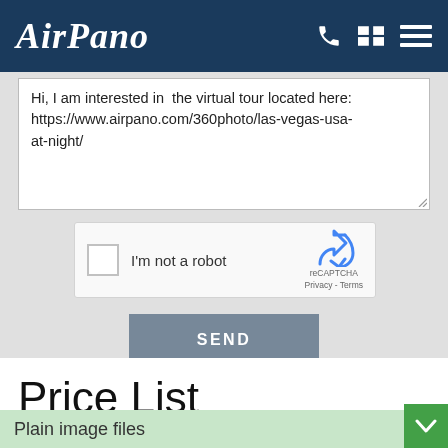AirPano
Hi, I am interested in the virtual tour located here: https://www.airpano.com/360photo/las-vegas-usa-at-night/
[Figure (screenshot): reCAPTCHA widget with checkbox labeled 'I'm not a robot' and reCAPTCHA logo with Privacy and Terms links]
SEND
Price List
Plain image files